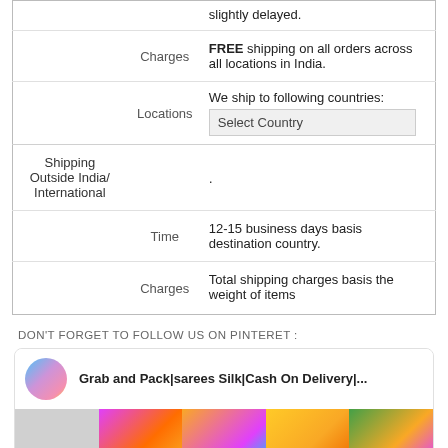| Row | Field | Value |
| --- | --- | --- |
|  |  | slightly delayed. |
|  | Charges | FREE shipping on all orders across all locations in India. |
|  | Locations | We ship to following countries: [Select Country dropdown] |
| Shipping Outside India/ International |  | . |
|  | Time | 12-15 business days basis destination country. |
|  | Charges | Total shipping charges basis the weight of items |
DON'T FORGET TO FOLLOW US ON PINTERET :
[Figure (screenshot): Pinterest card showing 'Grab and Pack|sarees Silk|Cash On Delivery|...' with thumbnail and a row of colorful saree images below]